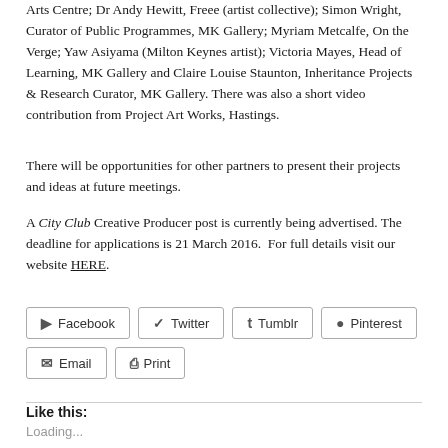Arts Centre; Dr Andy Hewitt, Freee (artist collective); Simon Wright, Curator of Public Programmes, MK Gallery; Myriam Metcalfe, On the Verge; Yaw Asiyama (Milton Keynes artist); Victoria Mayes, Head of Learning, MK Gallery and Claire Louise Staunton, Inheritance Projects & Research Curator, MK Gallery. There was also a short video contribution from Project Art Works, Hastings.
There will be opportunities for other partners to present their projects and ideas at future meetings.
A City Club Creative Producer post is currently being advertised. The deadline for applications is 21 March 2016. For full details visit our website HERE.
[Figure (other): Social share buttons: Facebook, Twitter, Tumblr, Pinterest, Email, Print]
Like this:
Loading...